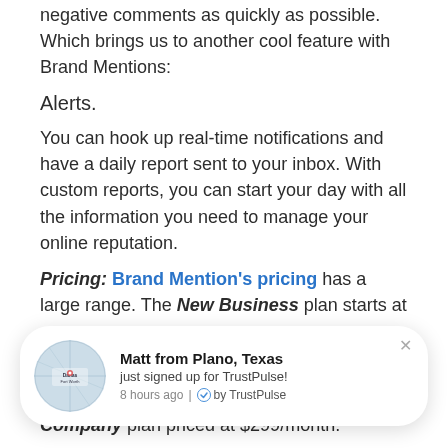negative comments as quickly as possible. Which brings us to another cool feature with Brand Mentions:
Alerts.
You can hook up real-time notifications and have a daily report sent to your inbox. With custom reports, you can start your day with all the information you need to manage your online reputation.
Pricing: Brand Mention's pricing has a large range. The New Business plan starts at $4... Bu... ies may benefit from more features with the Company plan priced at $299/month.
[Figure (infographic): TrustPulse notification popup showing 'Matt from Plano, Texas just signed up for TrustPulse! 8 hours ago | by TrustPulse' with a map background image of the Dallas/Fort Worth area and a close button.]